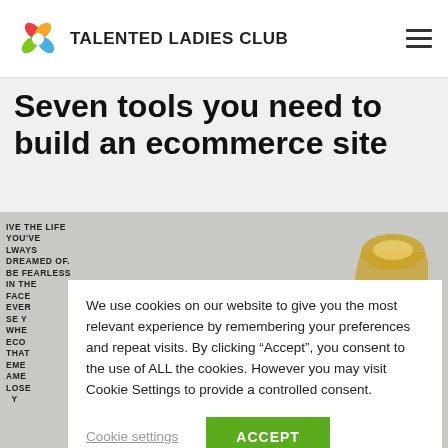TALENTED LADIES CLUB
Seven tools you need to build an ecommerce site
[Figure (photo): Lifestyle flat-lay photo with a framed motivational poster text and a gold desk lamp on a light background. The poster shows partially visible text: 'IVE THE LIFE YOU'VE ALWAYS DREAMED OF. BE FEARLESS IN THE FACE EVER SE Y WHEN ECOO THAT EME AME LOSE Y']
We use cookies on our website to give you the most relevant experience by remembering your preferences and repeat visits. By clicking “Accept”, you consent to the use of ALL the cookies. However you may visit Cookie Settings to provide a controlled consent.
Cookie settings
ACCEPT